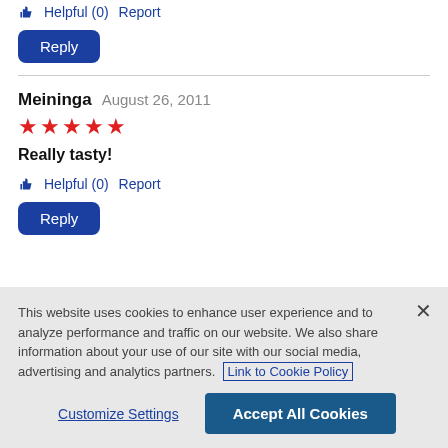👍 Helpful (0)  Report
Reply
Meininga  August 26, 2011
★★★★★
Really tasty!
👍 Helpful (0)  Report
Reply
This website uses cookies to enhance user experience and to analyze performance and traffic on our website. We also share information about your use of our site with our social media, advertising and analytics partners.  Link to Cookie Policy
Customize Settings
Accept All Cookies